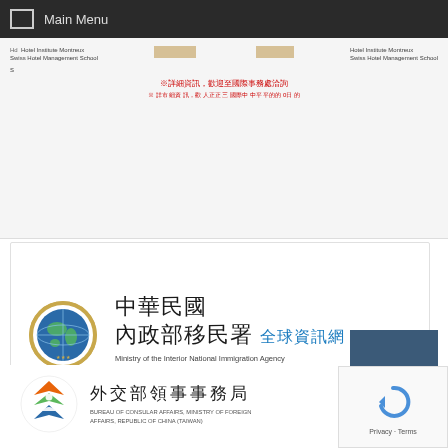Main Menu
[Figure (screenshot): Hotel Institute Montreux / Swiss Hotel Management School listing with blurred image boxes and red Chinese text: ※詳細資訊，歡迎至國際事務處洽詢]
[Figure (logo): Ministry of the Interior National Immigration Agency Republic of China (Taiwan) - 中華民國 內政部移民署 全球資訊網 logo with globe seal]
[Figure (logo): Bureau of Consular Affairs, Ministry of Foreign Affairs, Republic of China (Taiwan) - 外交部領事事務局 logo with colorful chevron emblem]
[Figure (other): Google reCAPTCHA widget with Privacy - Terms text]